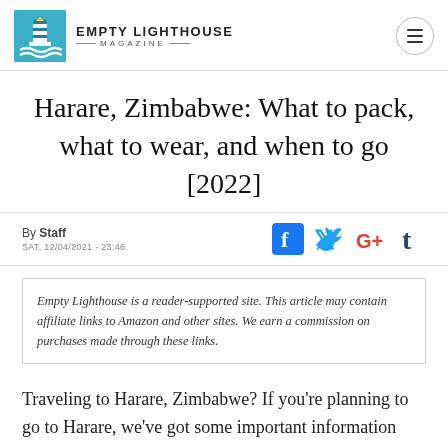Empty Lighthouse Magazine
Harare, Zimbabwe: What to pack, what to wear, and when to go [2022]
By Staff
SAT, 12/04/2021 - 23:46
Empty Lighthouse is a reader-supported site. This article may contain affiliate links to Amazon and other sites. We earn a commission on purchases made through these links.
Traveling to Harare, Zimbabwe? If you're planning to go to Harare, we've got some important information about when to go, what to wear, and what to pack.